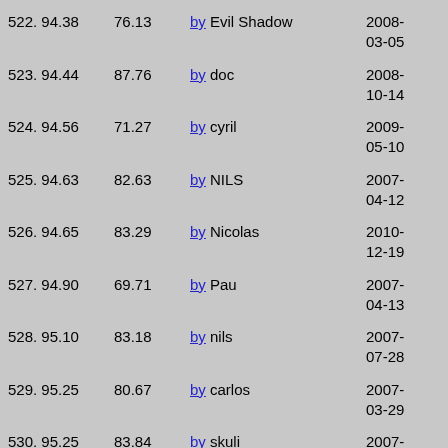| # | Score | By | Date |
| --- | --- | --- | --- |
| 522. 94.38 | 76.13 | by Evil Shadow | 2008-03-05 |
| 523. 94.44 | 87.76 | by doc | 2008-10-14 |
| 524. 94.56 | 71.27 | by cyril | 2009-05-10 |
| 525. 94.63 | 82.63 | by NILS | 2007-04-12 |
| 526. 94.65 | 83.29 | by Nicolas | 2010-12-19 |
| 527. 94.90 | 69.71 | by Pau | 2007-04-13 |
| 528. 95.10 | 83.18 | by nils | 2007-07-28 |
| 529. 95.25 | 80.67 | by carlos | 2007-03-29 |
| 530. 95.25 | 83.84 | by skuli | 2007-08-01 |
| 531. 95.28 | 72.42 | by vasili | 2007-09-03 |
| 532. 95.33 | 77.98 | by alex | 2010-10-10 |